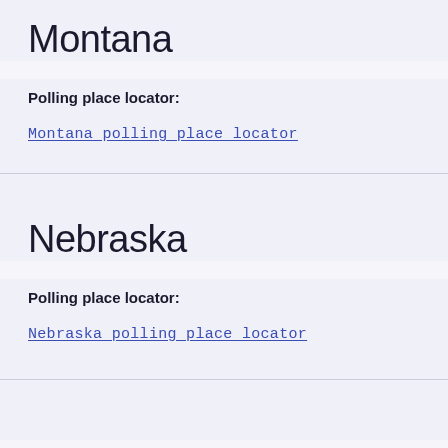Montana
Polling place locator:
Montana polling place locator
Nebraska
Polling place locator:
Nebraska polling place locator